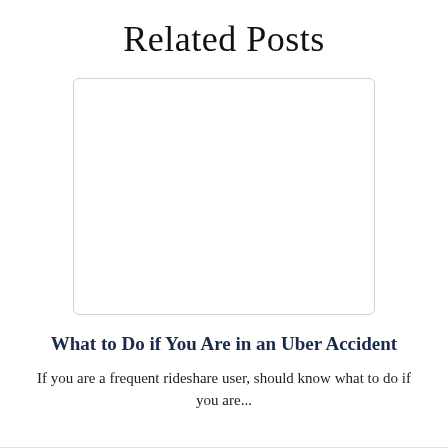Related Posts
[Figure (other): Blank white image placeholder with light gray rounded border]
What to Do if You Are in an Uber Accident
If you are a frequent rideshare user, should know what to do if you are...